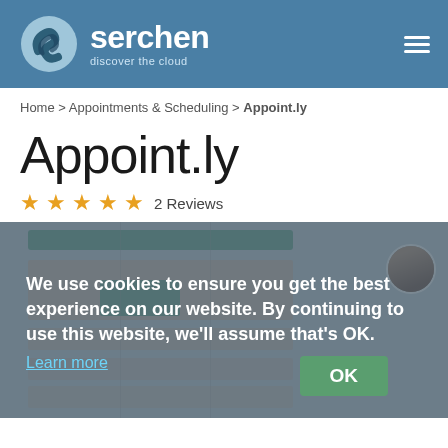serchen — discover the cloud
Home > Appointments & Scheduling > Appoint.ly
Appoint.ly
★★★★★ 2 Reviews
[Figure (screenshot): Screenshot of Appoint.ly scheduling calendar interface with a cookie consent overlay reading: 'We use cookies to ensure you get the best experience on our website. By continuing to use this website, we'll assume that's OK. Learn more' with an OK button.]